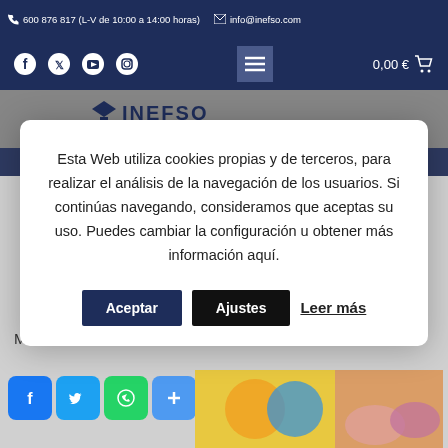600 876 817 (L-V de 10:00 a 14:00 horas)   info@inefso.com
[Figure (screenshot): Navigation bar with social media icons (Facebook, Twitter, YouTube, Instagram), hamburger menu button, and cart showing 0,00 €]
[Figure (logo): INEFSO logo with graduation cap icon]
Esta Web utiliza cookies propias y de terceros, para realizar el análisis de la navegación de los usuarios. Si continúas navegando, consideramos que aceptas su uso. Puedes cambiar la configuración u obtener más información aquí.
Aceptar   Ajustes   Leer más
Más información
[Figure (screenshot): Social share buttons: Facebook (blue), Twitter (light blue), WhatsApp (green), Share/Plus (blue) and a photo thumbnail of children's hands]